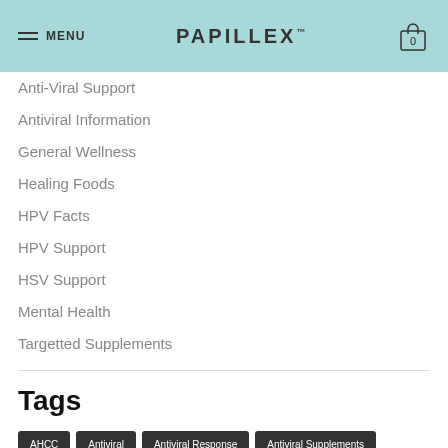MENU  PAPILLEX™  0
Anti-Viral Support
Antiviral Information
General Wellness
Healing Foods
HPV Facts
HPV Support
HSV Support
Mental Health
Targetted Supplements
Tags
AHCC  Antiviral  Antiviral Response  Antiviral Supplements